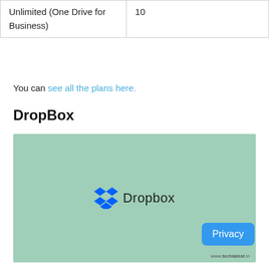| Unlimited (One Drive for Business) | 10 |
You can see all the plans here.
DropBox
[Figure (logo): Dropbox logo on a mint/sage green background, with a blue diamond-shaped icon and the word 'Dropbox' in dark text. A blue 'Privacy' button appears in the lower right. Watermark reads 'www.technlatest.in'.]